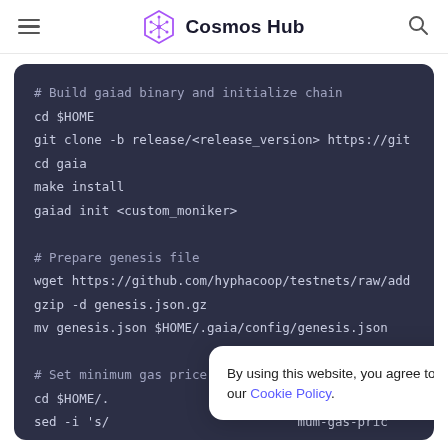Cosmos Hub
[Figure (screenshot): Code block showing shell commands: building gaiad binary, initializing chain, preparing genesis file, setting minimum gas price and peers. Dark background with monospaced font.]
By using this website, you agree to our Cookie Policy.